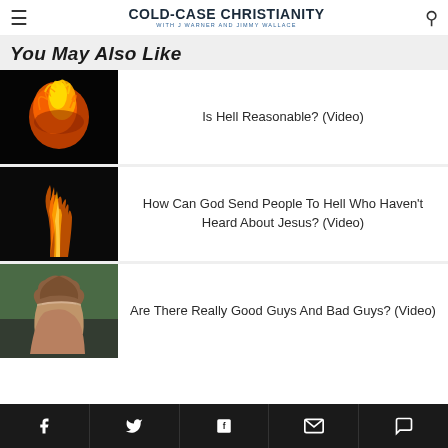COLD-CASE CHRISTIANITY WITH J WARNER AND JIMMY WALLACE
You May Also Like
[Figure (photo): Fireball flames on black background]
Is Hell Reasonable? (Video)
[Figure (photo): Orange flames on dark background]
How Can God Send People To Hell Who Haven't Heard About Jesus? (Video)
[Figure (photo): Portrait of a person with long hair in a car]
Are There Really Good Guys And Bad Guys? (Video)
Facebook, Twitter, Flipboard, Email, Comment icons